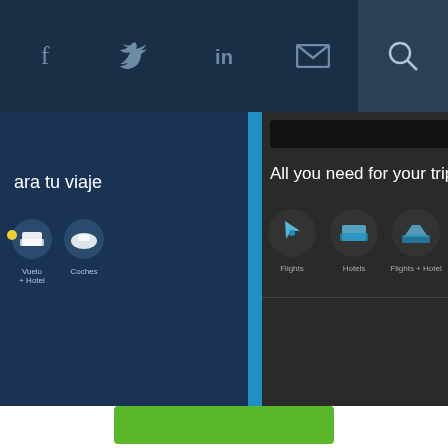Social media icons (Facebook, Twitter, LinkedIn, Email, Search) navigation bar
[Figure (screenshot): Screenshot of eDreams Odigeo website showing travel booking interface with panels for Spanish, English, and French versions. Left panel shows 'ara tu viaje' with hotel and car icons and 'squedas'. Center panel shows 'All you need for your trip' with flight, hotel, flights+hotel, and car icons, and 'Your recent searches / See more'. Right panel shows 'Service client g...' green box, 'N'oubliez pas vos', and 'Réductions sur 100' sections.]
News / Online
eDreams Odigeo reports "all-time records" in
This website uses cookies to enhance user experience and to analyze performance and traffic on our website. By using this site, you agree to the use of cookies. You may change your cookie settings at any time, but the site may not function properly.  Cookie Policy